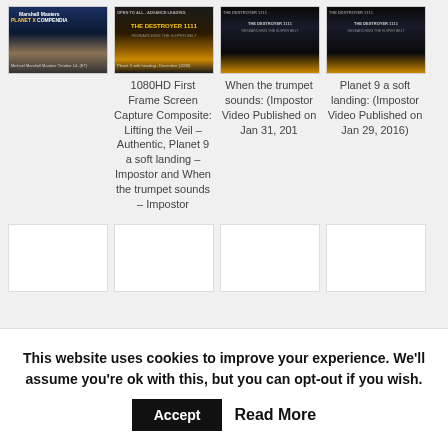[Figure (screenshot): Thumbnail image 1: Planet X / Marshall Masters book cover composite with Earth globe and train locomotive]
[Figure (screenshot): Thumbnail image 2: Dark orange-toned video screenshot, possibly a UFO or celestial object]
1080HD First Frame Screen Capture Composite: Lifting the Veil – Authentic, Planet 9 a soft landing – Impostor and When the trumpet sounds – Impostor
[Figure (screenshot): Thumbnail image 3: Dark background with text 'The Destroyer 1111: Researching the Kuiper Belt']
When the trumpet sounds: (Impostor Video Published on Jan 31, 201
[Figure (screenshot): Thumbnail image 4: Dark background with text 'The Destroyer 1111: Researching the Kuiper Belt']
Planet 9 a soft landing: (Impostor Video Published on Jan 29, 2016)
[Figure (screenshot): Bottom row of 4 blank/white thumbnail placeholders]
This website uses cookies to improve your experience. We'll assume you're ok with this, but you can opt-out if you wish.